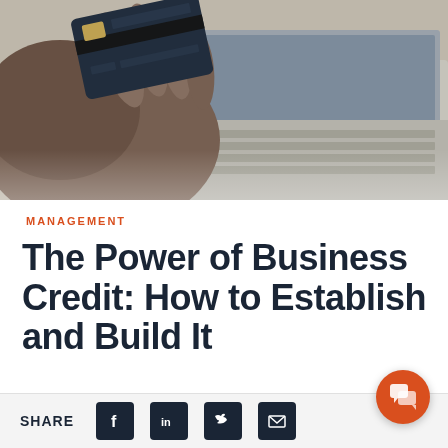[Figure (photo): Person holding a dark credit card in front of an open laptop keyboard, blurred background]
MANAGEMENT
The Power of Business Credit: How to Establish and Build It
SHARE